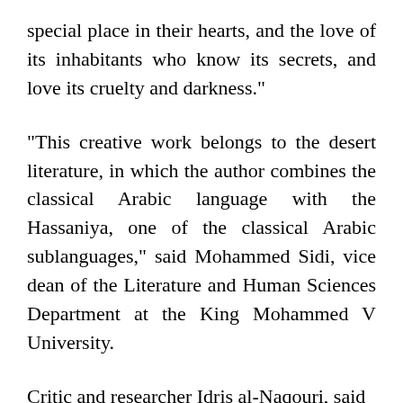special place in their hearts, and the love of its inhabitants who know its secrets, and love its cruelty and darkness."
"This creative work belongs to the desert literature, in which the author combines the classical Arabic language with the Hassaniya, one of the classical Arabic sublanguages," said Mohammed Sidi, vice dean of the Literature and Human Sciences Department at the King Mohammed V University.
Critic and researcher Idris al-Naqouri, said